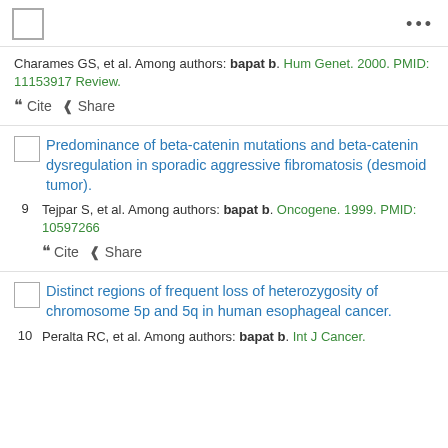Charames GS, et al. Among authors: bapat b. Hum Genet. 2000. PMID: 11153917 Review.
❝ Cite  ⬡ Share
Predominance of beta-catenin mutations and beta-catenin dysregulation in sporadic aggressive fibromatosis (desmoid tumor).
Tejpar S, et al. Among authors: bapat b. Oncogene. 1999. PMID: 10597266
❝ Cite  ⬡ Share
Distinct regions of frequent loss of heterozygosity of chromosome 5p and 5q in human esophageal cancer.
Peralta RC, et al. Among authors: bapat b. Int J Cancer.